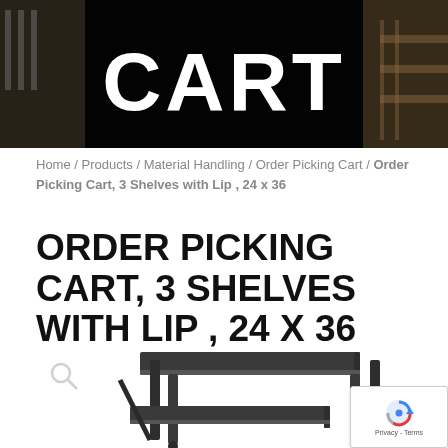[Figure (photo): Header banner with black background and warehouse/industrial background photo, with large white bold text 'CART' centered on black overlay]
Home / Products / Material Handling / Order Picking Cart / Order Picking Cart, 3 Shelves with Lip , 24 x 36
ORDER PICKING CART, 3 SHELVES WITH LIP , 24 X 36
[Figure (photo): Product photo of a dark gray/black order picking cart with 3 shelves with lip, shown at an angle. A search/zoom icon appears in the upper left of the image area. A reCAPTCHA badge is visible in the bottom right corner.]